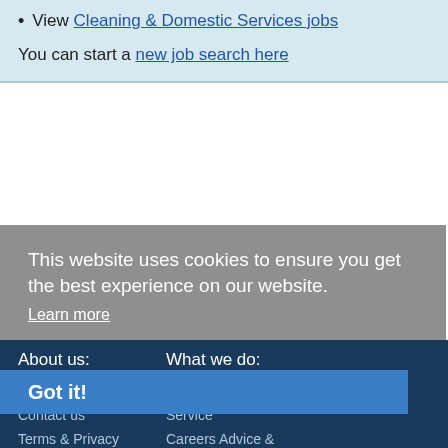View Cleaning & Domestic Services jobs
You can start a new job search here
This website uses cookies to ensure you get the best experience on our website.
Learn more
About us:
What we do:
About us
Contact us
Terms & Privacy
CV Writing Service
Got it!
Careers Advice & info
News